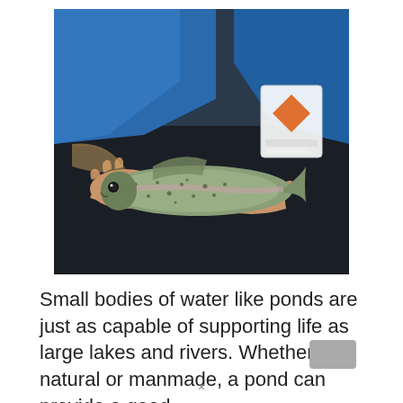[Figure (photo): A person in a blue puffer jacket holding a rainbow trout over water. The fish is held horizontally with both hands, and a fishing net is partially visible. The person appears to be standing in or near water.]
Small bodies of water like ponds are just as capable of supporting life as large lakes and rivers. Whether natural or manmade, a pond can provide a good